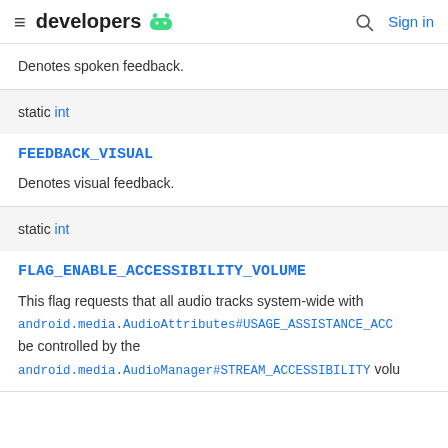developers [android logo] [search] Sign in
Denotes spoken feedback.
static int
FEEDBACK_VISUAL
Denotes visual feedback.
static int
FLAG_ENABLE_ACCESSIBILITY_VOLUME
This flag requests that all audio tracks system-wide with android.media.AudioAttributes#USAGE_ASSISTANCE_ACC be controlled by the android.media.AudioManager#STREAM_ACCESSIBILITY volu